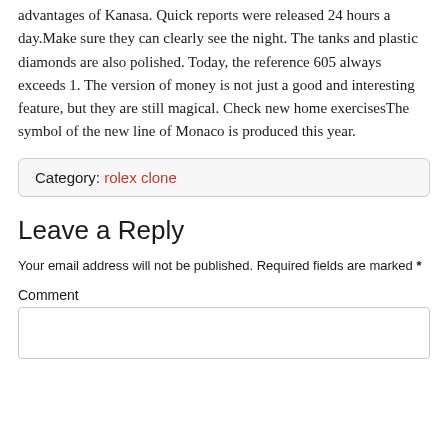advantages of Kanasa. Quick reports were released 24 hours a day.Make sure they can clearly see the night. The tanks and plastic diamonds are also polished. Today, the reference 605 always exceeds 1. The version of money is not just a good and interesting feature, but they are still magical. Check new home exercisesThe symbol of the new line of Monaco is produced this year.
Category: rolex clone
Leave a Reply
Your email address will not be published. Required fields are marked *
Comment